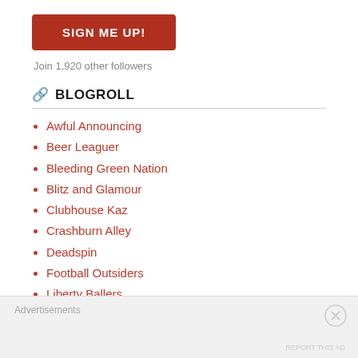[Figure (other): Red SIGN ME UP! button]
Join 1,920 other followers
BLOGROLL
Awful Announcing
Beer Leaguer
Bleeding Green Nation
Blitz and Glamour
Clubhouse Kaz
Crashburn Alley
Deadspin
Football Outsiders
Liberty Ballers
National Football Post
Advertisements